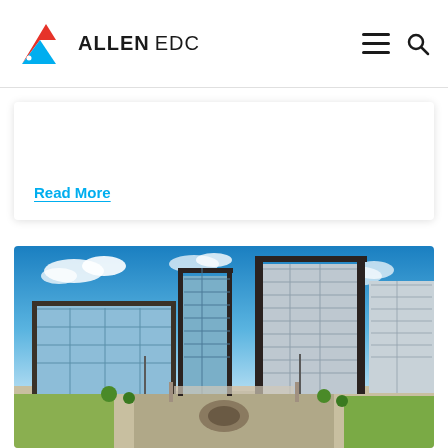[Figure (logo): Allen EDC logo with red and blue triangle/arrow graphic and bold text 'ALLEN EDC']
Read More
[Figure (photo): Aerial/ground-level photo of modern corporate office campus with glass buildings, blue sky with clouds, parking lot and landscaping. Appears to be a business park in Allen, TX.]